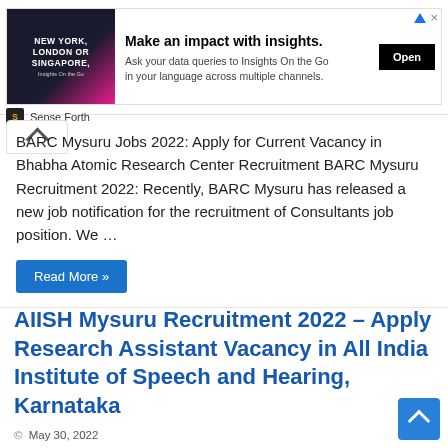[Figure (screenshot): Advertisement banner: man in business attire with text 'NEW YORK, LONDON OR SINGAPORE.' and headline 'Make an impact with insights.' with 'Ask your data queries to Insights On the Go in your language across multiple channels.' and an 'Open' button. Branded by 'Sense Forth'. Includes a sponsored indicator (triangle icon) and close (×).]
BARC Mysuru Jobs 2022: Apply for Current Vacancy in Bhabha Atomic Research Center Recruitment BARC Mysuru Recruitment 2022: Recently, BARC Mysuru has released a new job notification for the recruitment of Consultants job position. We …
Read More »
AIISH Mysuru Recruitment 2022 – Apply Research Assistant Vacancy in All India Institute of Speech and Hearing, Karnataka
May 30, 2022
Research Assistant, B.Ed - M.Ed, Central Government Vacancies, Contract Jobs, Institute Job Vacancy, M.A, M.E., Mysore/ Mysuru City, Walk in Interview
0
AIISH Mysuru Jobs 2022: Apply for Current Vacancy in All India